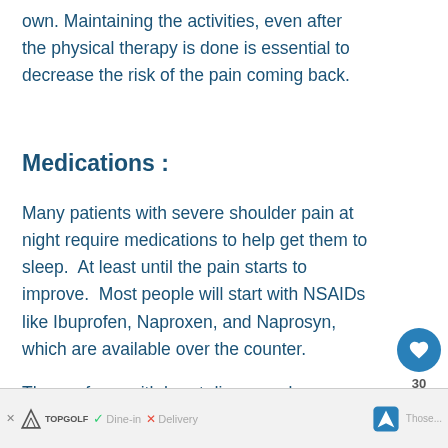own. Maintaining the activities, even after the physical therapy is done is essential to decrease the risk of the pain coming back.
Medications :
Many patients with severe shoulder pain at night require medications to help get them to sleep. At least until the pain starts to improve. Most people will start with NSAIDs like Ibuprofen, Naproxen, and Naprosyn, which are available over the counter.
Those of you with heart disease, ulcers, kidney disease, asthma, or hypertension will want to sp...
[Figure (other): Advertisement banner with Topgolf logo, Dine-in checkmark, Delivery X, navigation arrow icon, and partial text]